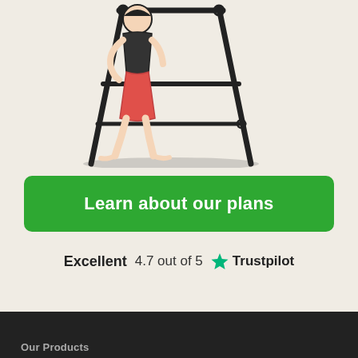[Figure (illustration): Illustration of a woman in a red skirt walking next to a large wooden ladder or easel structure, line art style on cream background]
Learn about our plans
Excellent  4.7 out of 5  ★ Trustpilot
Our Products